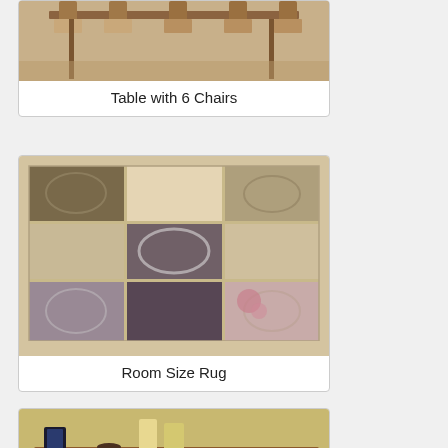[Figure (photo): Partial view of a dining table with chairs]
Table with 6 Chairs
[Figure (photo): Decorative room size rug with patchwork pattern in muted colors including purple, beige, and rose]
Room Size Rug
[Figure (photo): Wooden entry/sofa table with three drawers featuring brass hardware and cabriole legs, with items on top]
Entry/Sofa Table